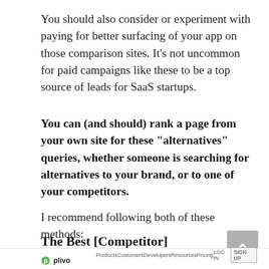You should also consider or experiment with paying for better surfacing of your app on those comparison sites. It's not uncommon for paid campaigns like these to be a top source of leads for SaaS startups.
You can (and should) rank a page from your own site for these “alternatives” queries, whether someone is searching for alternatives to your brand, or to one of your competitors.
I recommend following both of these methods:
The Best [Competitor] Alternative
[Figure (screenshot): Plivo website navigation bar with logo, Products, Customers, Developers, Resources, Pricing, LOG IN, and SIGN UP button]